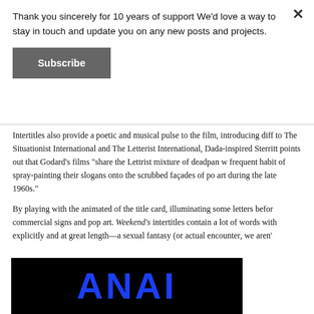Thank you sincerely for 10 years of support We'd love a way to stay in touch and update you on any new posts and projects.
Subscribe
Intertitles also provide a poetic and musical pulse to the film, introducing diff to The Situationist International and The Letterist International, Dada-inspired Sterritt points out that Godard’s films “share the Lettrist mixture of deadpan w frequent habit of spray-painting their slogans onto the scrubbed façades of po art during the late 1960s.”
By playing with the animated of the title card, illuminating some letters befor commercial signs and pop art. Weekend’s intertitles contain a lot of words with explicitly and at great length—a sexual fantasy (or actual encounter, we aren’
[Figure (photo): Black background with large blue bold letters spelling ANAI]